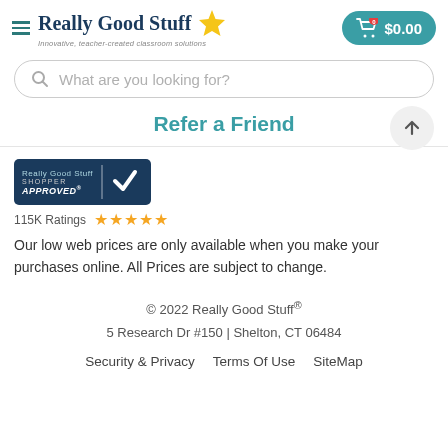[Figure (logo): Really Good Stuff logo with hamburger menu icon, star icon, and cart button showing $0.00]
[Figure (screenshot): Search bar with placeholder text 'What are you looking for?']
Refer a Friend
[Figure (logo): Shopper Approved badge with 115K Ratings and five gold stars]
Our low web prices are only available when you make your purchases online. All Prices are subject to change.
© 2022 Really Good Stuff®
5 Research Dr #150 | Shelton, CT 06484
Security & Privacy   Terms Of Use   SiteMap